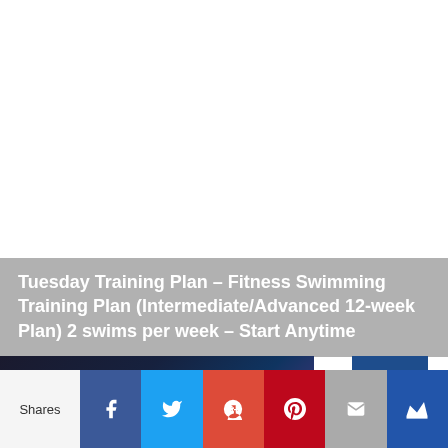[Figure (photo): White/blank upper area serving as image placeholder for a fitness swimming article]
Tuesday Training Plan – Fitness Swimming Training Plan (Intermediate/Advanced 12-week Plan) 2 swims per week – Start Anytime
[Figure (photo): Dark photo strip showing a swimmer or person, partially visible at bottom of image area]
TOP
Shares